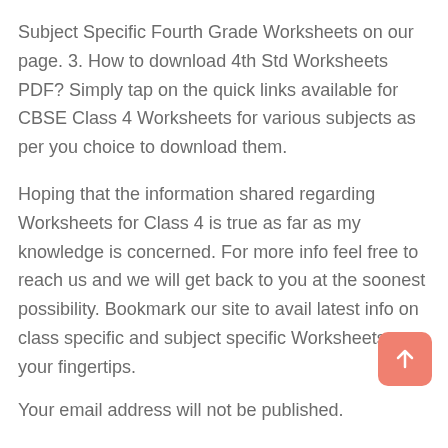Subject Specific Fourth Grade Worksheets on our page. 3. How to download 4th Std Worksheets PDF? Simply tap on the quick links available for CBSE Class 4 Worksheets for various subjects as per you choice to download them.
Hoping that the information shared regarding Worksheets for Class 4 is true as far as my knowledge is concerned. For more info feel free to reach us and we will get back to you at the soonest possibility. Bookmark our site to avail latest info on class specific and subject specific Worksheets at your fingertips.
Your email address will not be published.